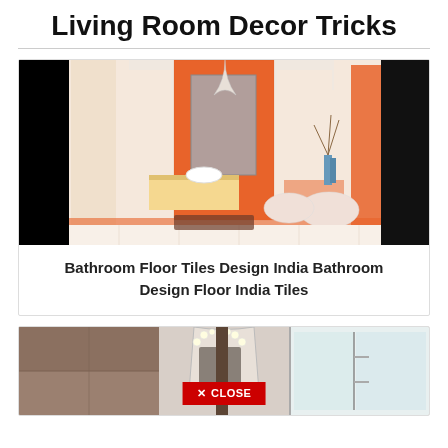Living Room Decor Tricks
[Figure (photo): Bathroom interior with orange patterned tiles on walls, white vanity with vessel sink, bidet and toilet visible, decorative branches in blue vase]
Bathroom Floor Tiles Design India Bathroom Design Floor India Tiles
[Figure (photo): Bathroom scene with brown/taupe wall tiles, illuminated mirror, glass shower enclosure, with a red CLOSE button overlay at the bottom]